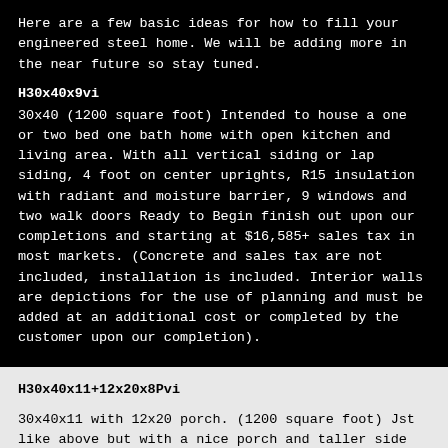Here are a few basic ideas for how to fill your engineered steel home.  We will be adding more in the near future so stay tuned.
H30x40x9vi
30x40 (1200 square foot) Intended to house a one or two bed one bath home with open kitchen and living area. With all vertical siding or lap siding, 4 foot on center uprights, R15 insulation with radiant and moisture barrier, 9 windows and two walk doors Ready to Begin finish out upon our completions and starting at $16,585+ sales tax in most markets.  (Concrete and sales tax are not included, installation is included.  Interior walls are depictions for the use of planning and must be added at an additional cost or completed by the customer upon our completion).
H30x40x11+12x20x8Pvi
30x40x11 with 12x20 porch. (1200 square foot) Jst like above but with a nice porch and taller side walls. Intended to house a one or two bed one bath home with open kitchen and living area. With all vertical siding or lap siding, 4 foot on